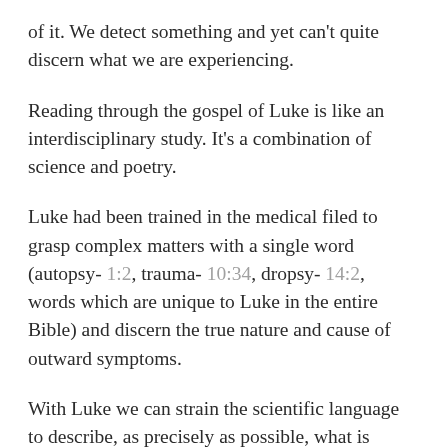of it. We detect something and yet can't quite discern what we are experiencing.
Reading through the gospel of Luke is like an interdisciplinary study. It's a combination of science and poetry.
Luke had been trained in the medical filed to grasp complex matters with a single word (autopsy- 1:2, trauma- 10:34, dropsy- 14:2, words which are unique to Luke in the entire Bible) and discern the true nature and cause of outward symptoms.
With Luke we can strain the scientific language to describe, as precisely as possible, what is happening in